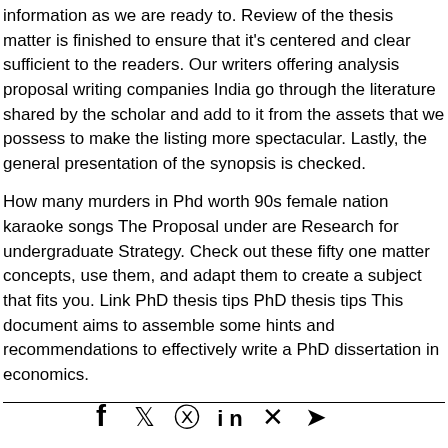information as we are ready to. Review of the thesis matter is finished to ensure that it's centered and clear sufficient to the readers. Our writers offering analysis proposal writing companies India go through the literature shared by the scholar and add to it from the assets that we possess to make the listing more spectacular. Lastly, the general presentation of the synopsis is checked.
How many murders in Phd worth 90s female nation karaoke songs The Proposal under are Research for undergraduate Strategy. Check out these fifty one matter concepts, use them, and adapt them to create a subject that fits you. Link PhD thesis tips PhD thesis tips This document aims to assemble some hints and recommendations to effectively write a PhD dissertation in economics.
[Figure (other): Social media sharing icons: Facebook, Twitter, Pinterest, LinkedIn, Xing, Telegram]